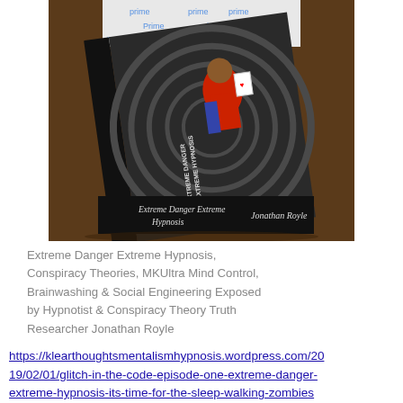[Figure (photo): A photograph of a physical book lying on a wooden surface. The book's spine reads 'Extreme Danger Extreme Hypnosis' and 'Jonathan Royle'. Amazon Prime packaging is visible in the background. The book cover shows a person in red outfit with hypnotic spiral design.]
Extreme Danger Extreme Hypnosis, Conspiracy Theories, MKUltra Mind Control, Brainwashing & Social Engineering Exposed by Hypnotist & Conspiracy Theory Truth Researcher Jonathan Royle
https://klearthoughtsmentalismhypnosis.wordpress.com/2019/02/01/glitch-in-the-code-episode-one-extreme-danger-extreme-hypnosis-its-time-for-the-sleep-walking-zombies